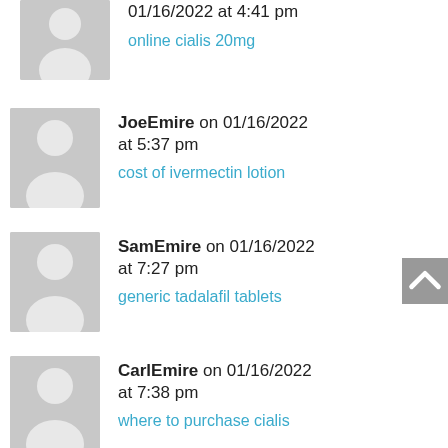[Figure (illustration): Gray avatar placeholder icon for first user]
01/16/2022 at 4:41 pm
online cialis 20mg
[Figure (illustration): Gray avatar placeholder icon for JoeEmire]
JoeEmire on 01/16/2022 at 5:37 pm
cost of ivermectin lotion
[Figure (illustration): Gray avatar placeholder icon for SamEmire]
SamEmire on 01/16/2022 at 7:27 pm
generic tadalafil tablets
[Figure (illustration): Gray avatar placeholder icon for CarlEmire]
CarlEmire on 01/16/2022 at 7:38 pm
where to purchase cialis